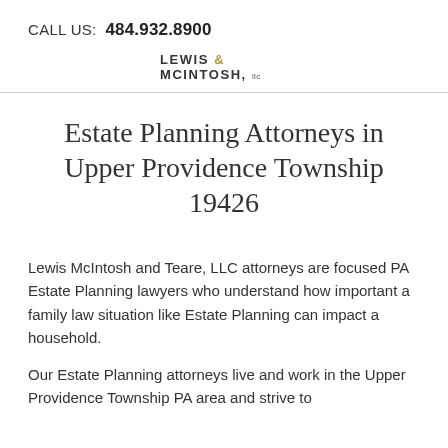CALL US: 484.932.8900
[Figure (logo): Lewis & McIntosh, LLC law firm logo with stylized text]
Estate Planning Attorneys in Upper Providence Township 19426
Lewis McIntosh and Teare, LLC attorneys are focused PA Estate Planning lawyers who understand how important a family law situation like Estate Planning can impact a household.
Our Estate Planning attorneys live and work in the Upper Providence Township PA area and strive to